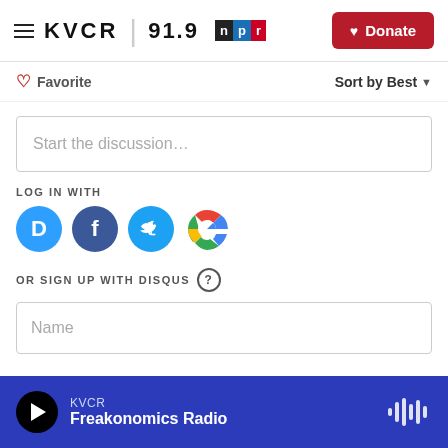KVCR 91.9 NPR — Donate
♡ Favorite    Sort by Best
Start the discussion…
LOG IN WITH
[Figure (infographic): Four social login icon buttons: Disqus (blue circle with D), Facebook (dark blue circle with f), Twitter (light blue circle with bird), Google (white circle with G)]
OR SIGN UP WITH DISQUS ?
Name
Be the first to comment.
KVCR Freakonomics Radio — play button and waveform